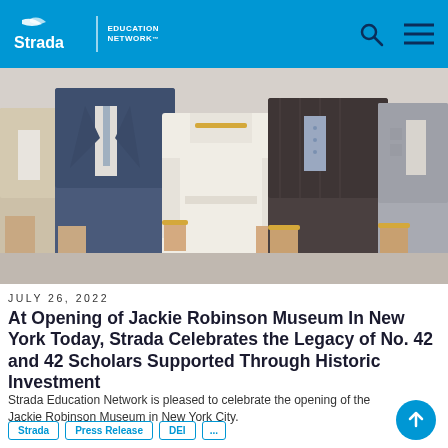Strada Education Network
[Figure (photo): Group photo of five people standing together at the opening of the Jackie Robinson Museum in New York. A woman in a cream/white sleeveless dress stands in the center, flanked by four men in suits (tan, blue, dark plaid, and grey).]
JULY 26, 2022
At Opening of Jackie Robinson Museum In New York Today, Strada Celebrates the Legacy of No. 42 and 42 Scholars Supported Through Historic Investment
Strada Education Network is pleased to celebrate the opening of the Jackie Robinson Museum in New York City.
Strada  Press Release  DEI  ...